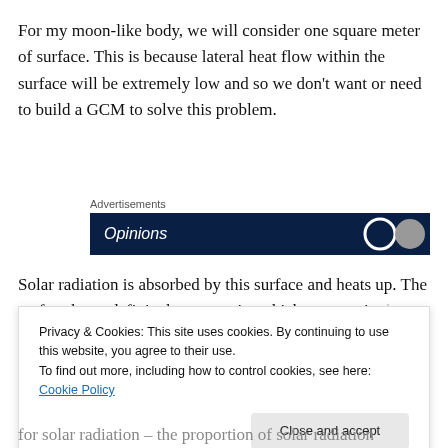For my moon-like body, we will consider one square meter of surface. This is because lateral heat flow within the surface will be extremely low and so we don't want or need to build a GCM to solve this problem.
[Figure (other): Advertisement banner with dark navy background showing partial text 'Opinions' in italic white font with circular logo elements on the right.]
Solar radiation is absorbed by this surface and heats up. The surface has a definite heat capacity which we vary in the simulations depending on conditions.
Privacy & Cookies: This site uses cookies. By continuing to use this website, you agree to their use.
To find out more, including how to control cookies, see here: Cookie Policy
for solar radiation – the proportion of solar radiation